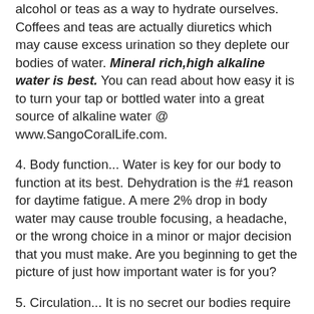alcohol or teas as a way to hydrate ourselves. Coffees and teas are actually diuretics which may cause excess urination so they deplete our bodies of water. Mineral rich,high alkaline water is best. You can read about how easy it is to turn your tap or bottled water into a great source of alkaline water @ www.SangoCoralLife.com.
4. Body function... Water is key for our body to function at its best. Dehydration is the #1 reason for daytime fatigue. A mere 2% drop in body water may cause trouble focusing, a headache, or the wrong choice in a minor or major decision that you must make. Are you beginning to get the picture of just how important water is for you?
5. Circulation... It is no secret our bodies require oxygen for us to live. A hydrated body will have a better flow of oxygen passing throughout the bloodstream than a dehydrated one. Our bodies burn more fat when we are hydrated properly. The body uses this oxygen for energy. Water is essential for our circulatory system to function properly. Drinking mineral rich, alkaline water will help the blood maintain the 7.365 pH level it must have in order to stay healthy. This helps the blood flow more freely and not be so